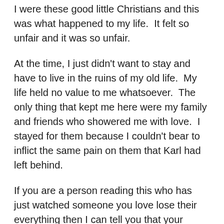I were these good little Christians and this was what happened to my life.  It felt so unfair and it was so unfair.
At the time, I just didn't want to stay and have to live in the ruins of my old life.  My life held no value to me whatsoever.  The only thing that kept me here were my family and friends who showered me with love.  I stayed for them because I couldn't bear to inflict the same pain on them that Karl had left behind.
If you are a person reading this who has just watched someone you love lose their everything then I can tell you that your support and your love might just be the reason that your loved one stays.  Keep trying.  Right now, they will be exhausted and overwhelmed but they will appreciate the fact that you are trying because it